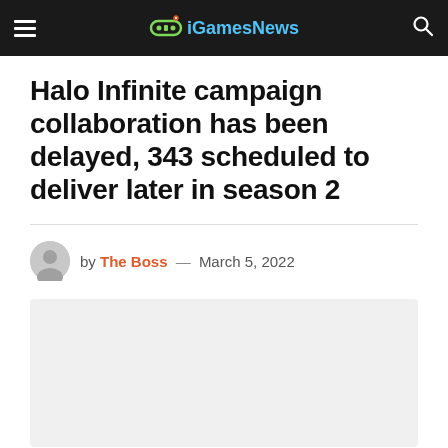iGamesNews
Halo Infinite campaign collaboration has been delayed, 343 scheduled to deliver later in season 2
by The Boss — March 5, 2022
[Figure (photo): Light grey placeholder image block below the byline]